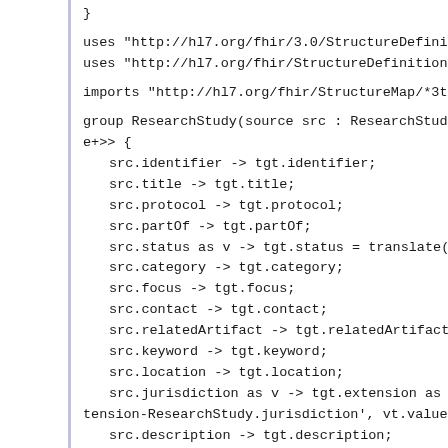}

uses "http://hl7.org/fhir/3.0/StructureDefinition/Resear
uses "http://hl7.org/fhir/StructureDefinition/ResearchSt

imports "http://hl7.org/fhir/StructureMap/*3to4"

group ResearchStudy(source src : ResearchStudyR3, target
e+>> {
  src.identifier -> tgt.identifier;
  src.title -> tgt.title;
  src.protocol -> tgt.protocol;
  src.partOf -> tgt.partOf;
  src.status as v -> tgt.status = translate(v, '#Resourc
  src.category -> tgt.category;
  src.focus -> tgt.focus;
  src.contact -> tgt.contact;
  src.relatedArtifact -> tgt.relatedArtifact;
  src.keyword -> tgt.keyword;
  src.location -> tgt.location;
  src.jurisdiction as v ->  tgt.extension as vt,  vt.url
tension-ResearchStudy.jurisdiction',  vt.value = v;
  src.description -> tgt.description;
  src.enrollment -> tgt.enrollment;
  src.period -> tgt.period;
  src.sponsor -> tgt.sponsor;
  src.principalInvestigator -> tgt.principalInvestigator